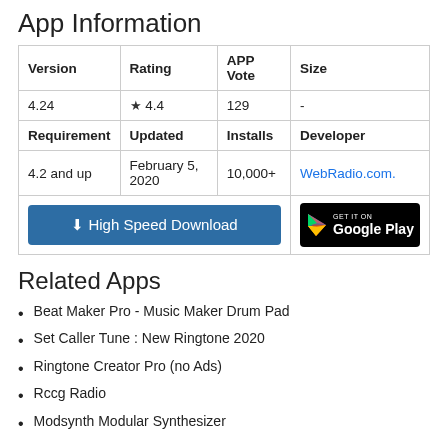App Information
| Version | Rating | APP Vote | Size |
| --- | --- | --- | --- |
| 4.24 | ★ 4.4 | 129 | - |
| Requirement | Updated | Installs | Developer |
| 4.2 and up | February 5, 2020 | 10,000+ | WebRadio.com. |
Related Apps
Beat Maker Pro - Music Maker Drum Pad
Set Caller Tune : New Ringtone 2020
Ringtone Creator Pro (no Ads)
Rccg Radio
Modsynth Modular Synthesizer